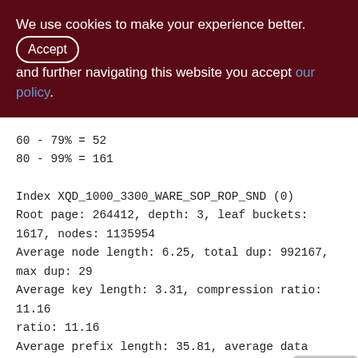We use cookies to make your experience better. By accepting and further navigating this website you accept our policy.
60 - 79% = 52
80 - 99% = 161

Index XQD_1000_3300_WARE_SOP_ROP_SND (0)
Root page: 264412, depth: 3, leaf buckets: 1617, nodes: 1135954
Average node length: 6.25, total dup: 992167, max dup: 29
Average key length: 3.31, compression ratio: 11.16
Average prefix length: 35.81, average data length: 1.19